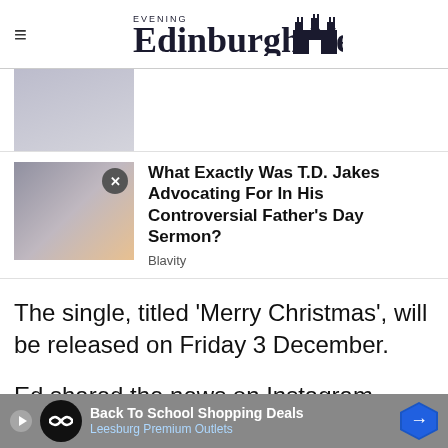Edinburgh Evening News
[Figure (photo): Partial photo at top, partially cropped]
[Figure (photo): Photo of T.D. Jakes smiling, with a close button overlay]
What Exactly Was T.D. Jakes Advocating For In His Controversial Father's Day Sermon?
Blavity
The single, titled ‘Merry Christmas’, will be released on Friday 3 December.
Ed shared the news on Instagram, sharing a
Love
on:
“O
Back To School Shopping Deals
Leesburg Premium Outlets